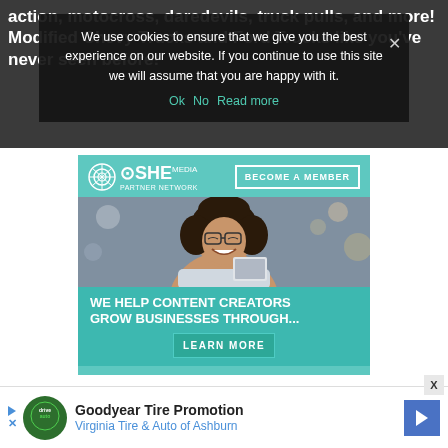action, motocross, daredevils, truck pulls, and more! Modified Chevy Trucks and Ford Trucks like you've never seen before!
We use cookies to ensure that we give you the best experience on our website. If you continue to use this site we will assume that you are happy with it.
[Figure (screenshot): SHE Media Partner Network advertisement. Header with SHE Media logo and 'BECOME A MEMBER' button. Photo of smiling woman with glasses using tablet. Teal background with text 'WE HELP CONTENT CREATORS GROW BUSINESSES THROUGH...' and 'LEARN MORE' button.]
[Figure (screenshot): Goodyear Tire Promotion ad bar at bottom. Virginia Tire & Auto of Ashburn. Green circular logo, text, and blue diamond arrow button.]